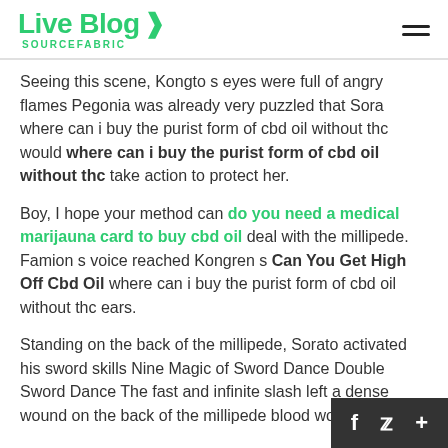Live Blog SOURCEFABRIC
Seeing this scene, Kongto s eyes were full of angry flames Pegonia was already very puzzled that Sora where can i buy the purist form of cbd oil without thc would where can i buy the purist form of cbd oil without thc take action to protect her.
Boy, I hope your method can do you need a medical marijauna card to buy cbd oil deal with the millipede. Famion s voice reached Kongren s Can You Get High Off Cbd Oil where can i buy the purist form of cbd oil without thc ears.
Standing on the back of the millipede, Sorato activated his sword skills Nine Magic of Sword Dance Double Sword Dance The fast and infinite slash left a dense wound on the back of the millipede blood worm.